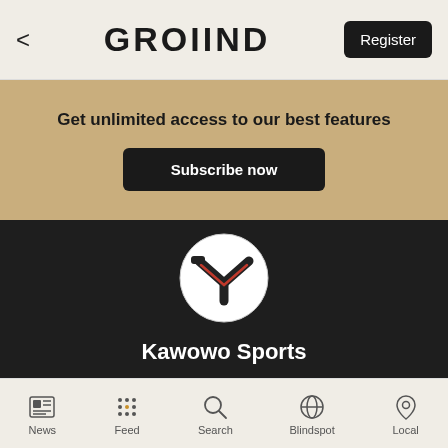< GROIIND  Register
Get unlimited access to our best features
Subscribe now
[Figure (logo): Kawowo Sports circular logo on dark background — white circle with a stylized black and red Y/arrow shape inside]
Kawowo Sports
News  Feed  Search  Blindspot  Local